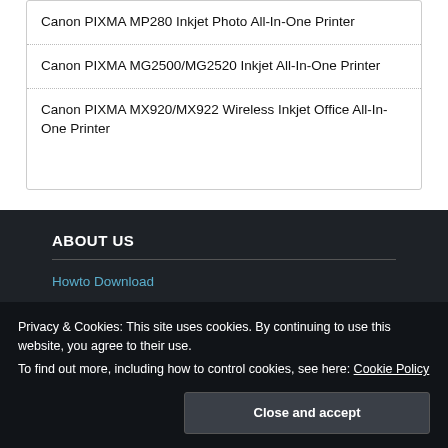Canon PIXMA MP280 Inkjet Photo All-In-One Printer
Canon PIXMA MG2500/MG2520 Inkjet All-In-One Printer
Canon PIXMA MX920/MX922 Wireless Inkjet Office All-In-One Printer
ABOUT US
Howto Download
Privacy Policy
Privacy & Cookies: This site uses cookies. By continuing to use this website, you agree to their use.
To find out more, including how to control cookies, see here: Cookie Policy
Close and accept